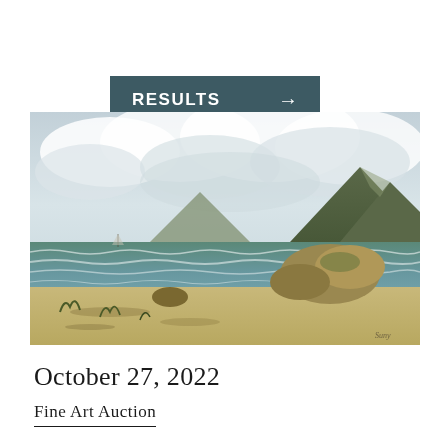RESULTS →
[Figure (photo): Oil painting of a coastal seascape with rocky shore, waves, a mountain in the background, and dramatic cloudy sky. A small sailboat is visible in the distance on the water.]
October 27, 2022
Fine Art Auction